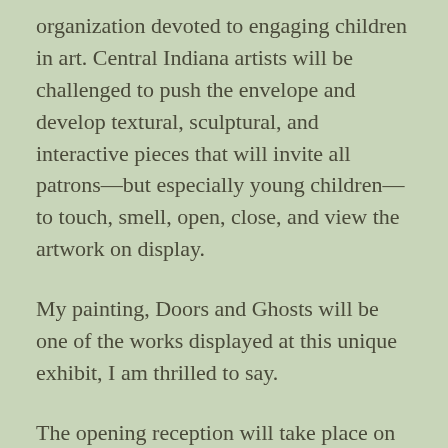organization devoted to engaging children in art. Central Indiana artists will be challenged to push the envelope and develop textural, sculptural, and interactive pieces that will invite all patrons—but especially young children—to touch, smell, open, close, and view the artwork on display.
My painting, Doors and Ghosts will be one of the works displayed at this unique exhibit, I am thrilled to say.
The opening reception will take place on